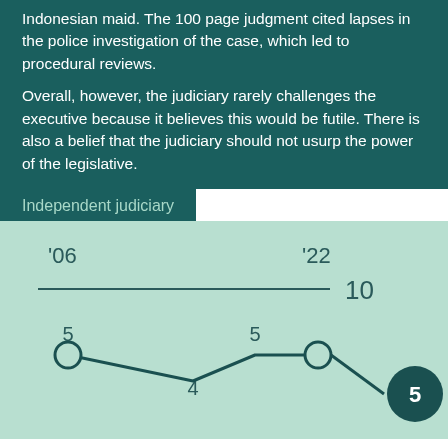Indonesian maid. The 100 page judgment cited lapses in the police investigation of the case, which led to procedural reviews.
Overall, however, the judiciary rarely challenges the executive because it believes this would be futile. There is also a belief that the judiciary should not usurp the power of the legislative.
Independent judiciary
[Figure (line-chart): Independent judiciary]